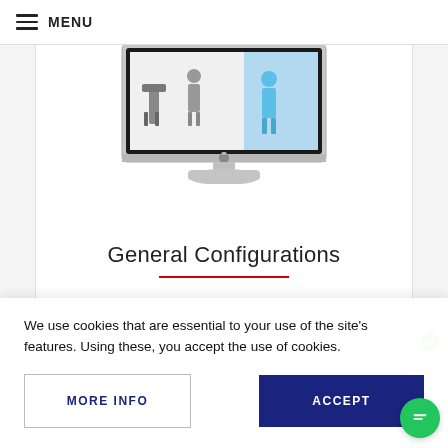MENU
[Figure (illustration): Apple iMac desktop computer illustration showing the monitor with a website design visible on screen, silver stand and base]
General Configurations
We use cookies that are essential to your use of the site's features. Using these, you accept the use of cookies.
MORE INFO
ACCEPT